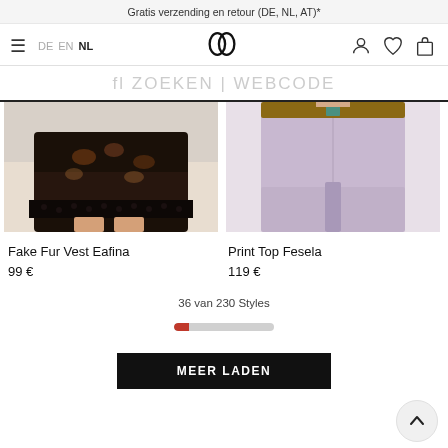Gratis verzending en retour (DE, NL, AT)*
[Figure (screenshot): Navigation bar with hamburger menu, language selectors (DE, EN, NL), heart-ring logo, user icon, wishlist icon, and cart icon]
fl ZOEKEN | WEBCODE
[Figure (photo): Partial view of woman wearing dark floral lace dress/vest from waist down]
Fake Fur Vest Eafina
99 €
[Figure (photo): Partial view of woman wearing lavender/lilac wide-leg trousers with brown belt from waist down]
Print Top Fesela
119 €
36 van 230 Styles
[Figure (infographic): Progress bar showing approximately 15% fill in red, remainder grey]
MEER LADEN